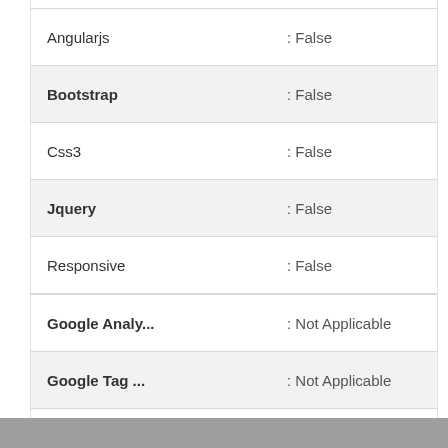| Property | Value |
| --- | --- |
| Angularjs | : False |
| Bootstrap | : False |
| Css3 | : False |
| Jquery | : False |
| Responsive | : False |
| Google Analy... | : Not Applicable |
| Google Tag ... | : Not Applicable |
| Pub Code | : Not Applicable |
| Canonical | : False |
| Amp | : False |